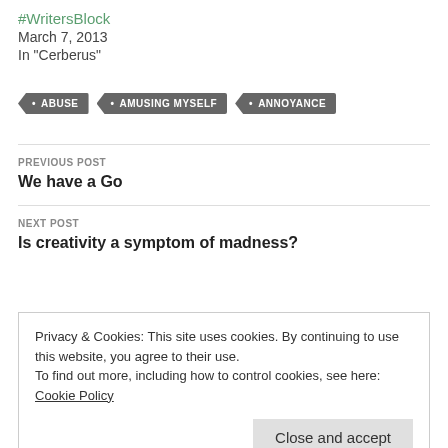#WritersBlock
March 7, 2013
In "Cerberus"
ABUSE
AMUSING MYSELF
ANNOYANCE
PREVIOUS POST
We have a Go
NEXT POST
Is creativity a symptom of madness?
Privacy & Cookies: This site uses cookies. By continuing to use this website, you agree to their use.
To find out more, including how to control cookies, see here: Cookie Policy
Close and accept
Search